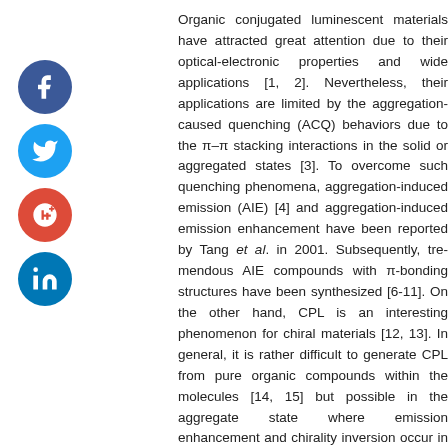[Figure (infographic): Social media sharing icons sidebar: Facebook (blue circle with f), Twitter (light blue circle with bird), Google+ (red circle with g+), LinkedIn (blue circle with in)]
Organic conjugated luminescent materials have attracted great attention due to their optical-electronic properties and wide applications [1, 2]. Nevertheless, their applications are limited by the aggregation-caused quenching (ACQ) behaviors due to the π–π stacking interactions in the solid or aggregated states [3]. To overcome such quenching phenomena, aggregation-induced emission (AIE) [4] and aggregation-induced emission enhancement have been reported by Tang et al. in 2001. Subsequently, tremendous AIE compounds with π-bonding structures have been synthesized [6-11]. On the other hand, CPL is an interesting phenomenon for chiral materials [12, 13]. In general, it is rather difficult to generate CPL from pure organic compounds within the molecules [14, 15] but possible in the aggregate state where emission enhancement and chirality inversion occur in the aggregated state simultaneously. The aggregation-induced chirality inversion phenomena can be attributed to the multiple rotatable C-C bonding structures. Herein, we reported that th
For the realization of this concept, we have synthesized a pair of enantiomers of bay-annulated perylene diimides, R-BPDH and S-BPDH (Fig. 1). Perylene diimides serve as luminescent chromophore entities as their outstanding optical properties are well known, while 1, 1'-binaphthol (BINOL) moieties play as the chiral units in the molecule. Moreover, the BINOL derivatives have also been demonstrated to be an excellent chiral source to exhibit AIE and circularly polarized luminescence (CPL) propertie